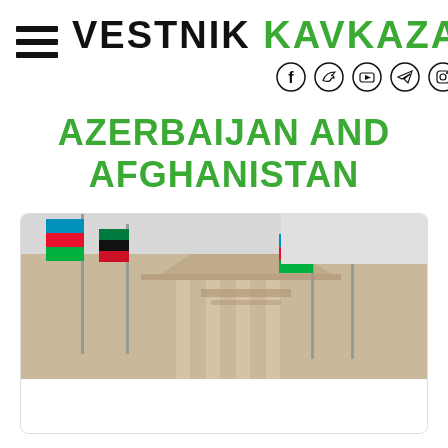VESTNIK KAVKAZA
AZERBAIJAN AND AFGHANISTAN
[Figure (photo): Photograph taken from below looking up at a classical government building facade with flags (Azerbaijan flag colors visible - blue, red, green) flying in front of it against a grey sky.]